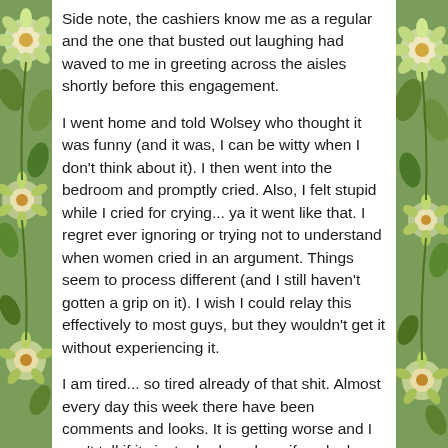Side note, the cashiers know me as a regular and the one that busted out laughing had waved to me in greeting across the aisles shortly before this engagement.
I went home and told Wolsey who thought it was funny (and it was, I can be witty when I don't think about it). I then went into the bedroom and promptly cried. Also, I felt stupid while I cried for crying... ya it went like that. I regret ever ignoring or trying not to understand when women cried in an argument. Things seem to process different (and I still haven't gotten a grip on it). I wish I could relay this effectively to most guys, but they wouldn't get it without experiencing it.
I am tired... so tired already of that shit. Almost every day this week there have been comments and looks. It is getting worse and I can't tell if its just a bad week, or if my looks are shifting enough to cause a more pushy reaction.